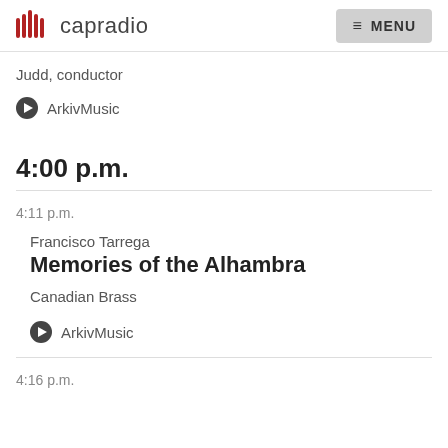capradio | MENU
Judd, conductor
ArkivMusic
4:00 p.m.
4:11 p.m.
Francisco Tarrega
Memories of the Alhambra
Canadian Brass
ArkivMusic
4:16 p.m.